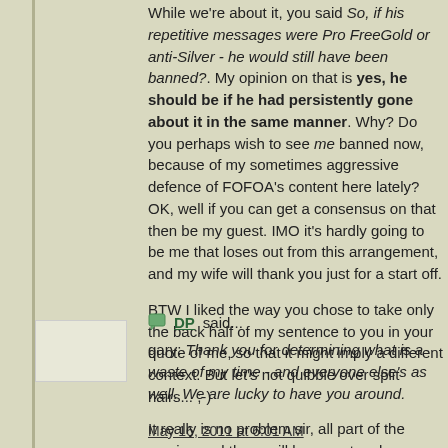While we're about it, you said So, if his repetitive messages were Pro FreeGold or anti-Silver - he would still have been banned?. My opinion on that is yes, he should be if he had persistently gone about it in the same manner. Why? Do you perhaps wish to see me banned now, because of my sometimes aggressive defence of FOFOA's content here lately? OK, well if you can get a consensus on that then be my guest. IMO it's hardly going to be me that loses out from this arrangement, and my wife will thank you just for a start off.
BTW I liked the way you chose to take only the back half of my sentence to you in your quote of me, so that it might imply a different context. But let's not quibble over split hairs... ;-)
May 16, 2011 at 6:01 AM
DP said...
gary: Thank you for determining what is a waste of my time - and everyone else's as well. We are lucky to have you around.
It really is no problem sir, all part of the service and there will be no extra charge on your bill at checkout. I hope that sir will not mind, but I have other more pressing engagements to attend to.